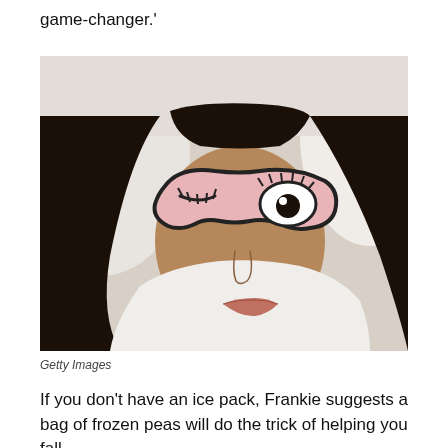game-changer.'
[Figure (photo): A woman lying in bed wearing a pink sleep mask decorated with cartoon eyes (one open, one closed with lashes). She has long dark hair and wears a white top, resting on white pillows.]
Getty Images
If you don't have an ice pack, Frankie suggests a bag of frozen peas will do the trick of helping you fall